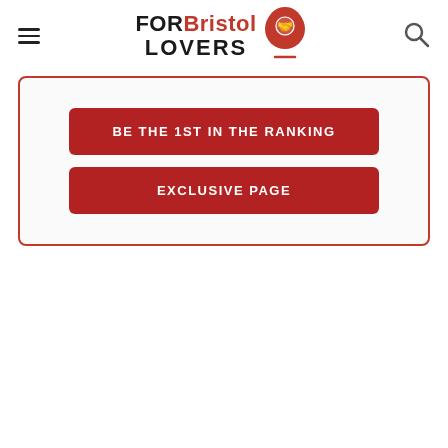FOR Bristol LOVERS
BE THE 1ST IN THE RANKING
EXCLUSIVE PAGE